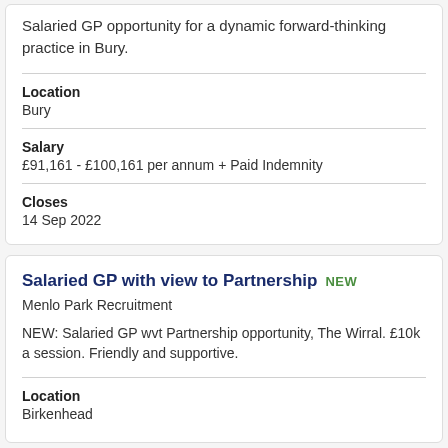Salaried GP opportunity for a dynamic forward-thinking practice in Bury.
Location
Bury
Salary
£91,161 - £100,161 per annum + Paid Indemnity
Closes
14 Sep 2022
Salaried GP with view to Partnership NEW
Menlo Park Recruitment
NEW: Salaried GP wvt Partnership opportunity, The Wirral. £10k a session. Friendly and supportive.
Location
Birkenhead